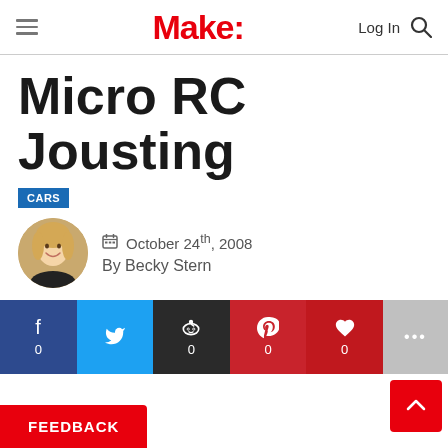Make:
Micro RC Jousting
CARS
By Becky Stern   October 24th, 2008
[Figure (screenshot): Social share bar with Facebook, Twitter, Reddit, Pinterest, Like buttons all showing 0 counts]
FEEDBACK